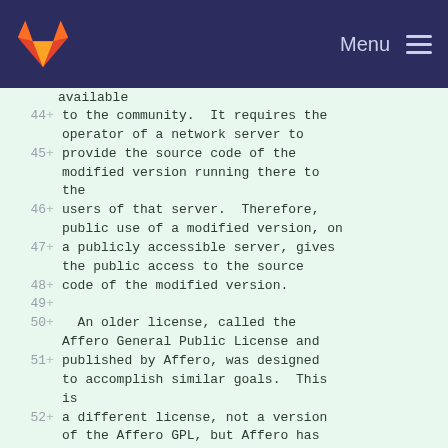GitLab logo | Menu
available
44 + to the community.  It requires the operator of a network server to
45 + provide the source code of the modified version running there to the
46 + users of that server.  Therefore, public use of a modified version, on
47 + a publicly accessible server, gives the public access to the source
48 + code of the modified version.
49 +
50 +   An older license, called the Affero General Public License and
51 + published by Affero, was designed to accomplish similar goals.  This is
52 + a different license, not a version of the Affero GPL, but Affero has
53 + released a new version of the